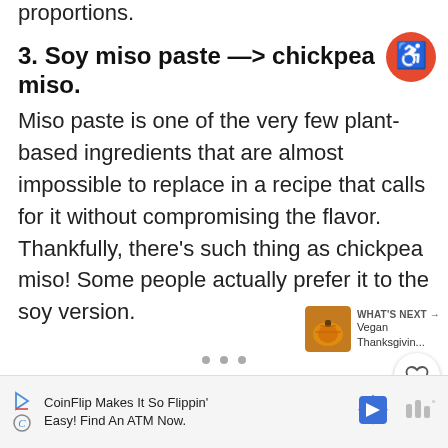proportions.
3. Soy miso paste —> chickpea miso.
Miso paste is one of the very few plant-based ingredients that are almost impossible to replace in a recipe that calls for it without compromising the flavor. Thankfully, there's such thing as chickpea miso! Some people actually prefer it to the soy version.
[Figure (infographic): Accessibility icon: orange circle with white wheelchair user symbol]
[Figure (infographic): Heart/favorite button: white circle with gray heart icon]
[Figure (infographic): Share button: white circle with share icon]
[Figure (infographic): What's Next card showing a pumpkin image thumbnail with text 'WHAT'S NEXT → Vegan Thanksgivin...']
CoinFlip Makes It So Flippin' Easy! Find An ATM Now.